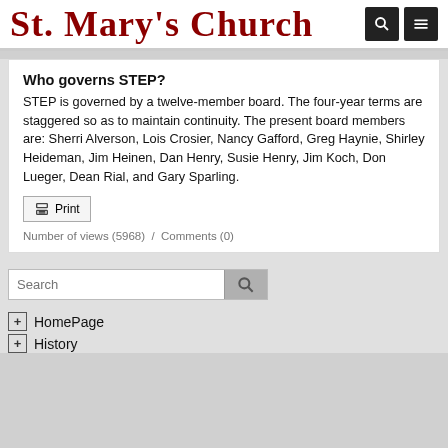St. Mary's Church
Who governs STEP?
STEP is governed by a twelve-member board. The four-year terms are staggered so as to maintain continuity. The present board members are: Sherri Alverson, Lois Crosier, Nancy Gafford, Greg Haynie, Shirley Heideman, Jim Heinen, Dan Henry, Susie Henry, Jim Koch, Don Lueger, Dean Rial, and Gary Sparling.
Number of views (5968)  /  Comments (0)